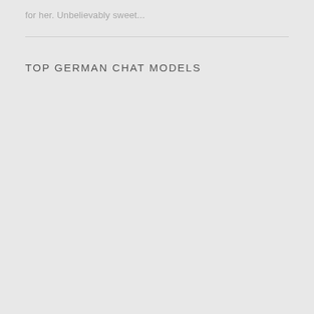for her. Unbelievably sweet...
TOP GERMAN CHAT MODELS